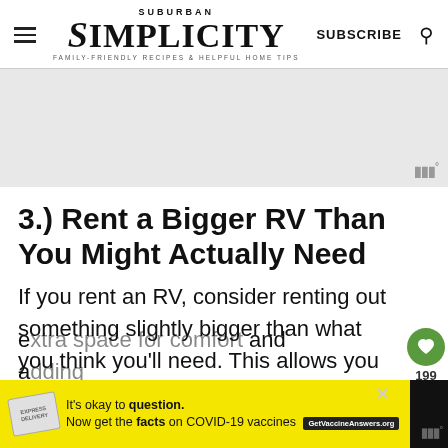SUBURBAN SIMPLICITY — FAMILY-FRIENDLY RECIPES & HELPFUL HOME TIPS | SUBSCRIBE
[Figure (other): Gray advertisement placeholder area with weather widget icon in bottom right]
3.) Rent a Bigger RV Than You Might Actually Need
If you rent an RV, consider renting out something slightly bigger than what you think you'll need. This allows you to have e... a... nce.
[Figure (infographic): Yellow COVID-19 vaccine advertisement banner: It's okay to question. Now get the facts on COVID-19 vaccines. GetVaccineAnswers.org]